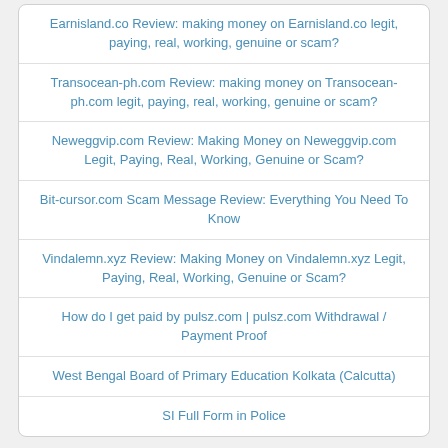Earnisland.co Review: making money on Earnisland.co legit, paying, real, working, genuine or scam?
Transocean-ph.com Review: making money on Transocean-ph.com legit, paying, real, working, genuine or scam?
Neweggvip.com Review: Making Money on Neweggvip.com Legit, Paying, Real, Working, Genuine or Scam?
Bit-cursor.com Scam Message Review: Everything You Need To Know
Vindalemn.xyz Review: Making Money on Vindalemn.xyz Legit, Paying, Real, Working, Genuine or Scam?
How do I get paid by pulsz.com | pulsz.com Withdrawal / Payment Proof
West Bengal Board of Primary Education Kolkata (Calcutta)
SI Full Form in Police
Top Posts
High-Paying Jobs in Canada and Best Universities to Get You Hired
Here are 10 best jobs to work from home in South Africa 2022